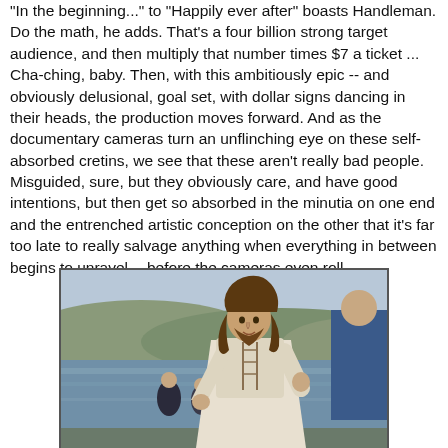"In the beginning..." to "Happily ever after" boasts Handleman. Do the math, he adds. That's a four billion strong target audience, and then multiply that number times $7 a ticket ... Cha-ching, baby. Then, with this ambitiously epic -- and obviously delusional, goal set, with dollar signs dancing in their heads, the production moves forward. And as the documentary cameras turn an unflinching eye on these self-absorbed cretins, we see that these aren't really bad people. Misguided, sure, but they obviously care, and have good intentions, but then get so absorbed in the minutia on one end and the entrenched artistic conception on the other that it's far too late to really salvage anything when everything in between begins to unravel -- before the cameras even roll.
[Figure (photo): A man with long brown hair and beard dressed in white robes reminiscent of Jesus Christ, standing near a body of water with hills in the background and other people wading in the water behind him.]